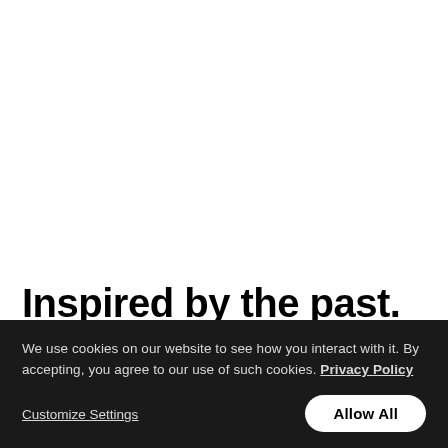Inspired by the past.
We use cookies on our website to see how you interact with it. By accepting, you agree to our use of such cookies. Privacy Policy
Customize Settings
Allow All